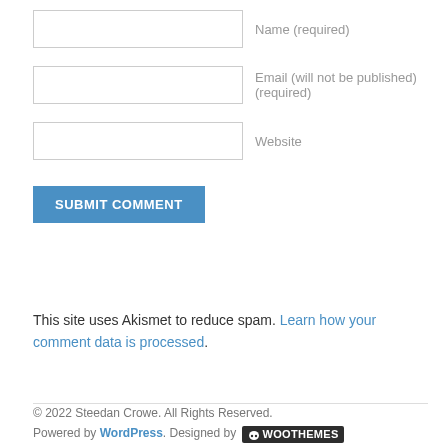Name (required)
Email (will not be published) (required)
Website
SUBMIT COMMENT
This site uses Akismet to reduce spam. Learn how your comment data is processed.
© 2022 Steedan Crowe. All Rights Reserved.
Powered by WordPress. Designed by WOO THEMES